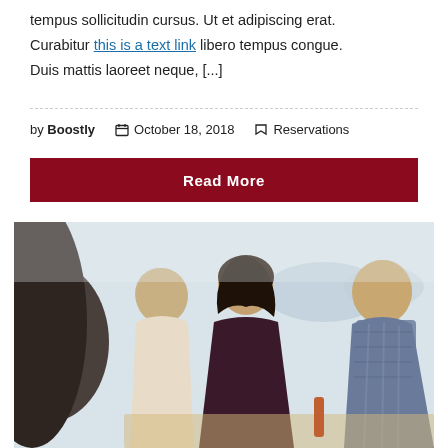tempus sollicitudin cursus. Ut et adipiscing erat. Curabitur this is a text link libero tempus congue. Duis mattis laoreet neque, [...]
by Boostly  October 18, 2018  Reservations
Read More
[Figure (photo): Group of young people socializing outdoors near a beach, sitting around a table. Warm, casual scene with blurred background showing water and hills.]